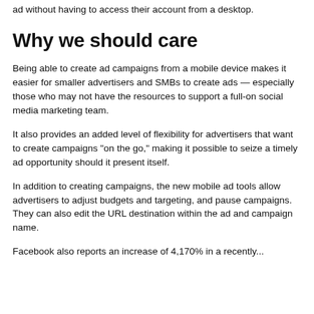ad without having to access their account from a desktop.
Why we should care
Being able to create ad campaigns from a mobile device makes it easier for smaller advertisers and SMBs to create ads — especially those who may not have the resources to support a full-on social media marketing team.
It also provides an added level of flexibility for advertisers that want to create campaigns "on the go," making it possible to seize a timely ad opportunity should it present itself.
In addition to creating campaigns, the new mobile ad tools allow advertisers to adjust budgets and targeting, and pause campaigns. They can also edit the URL destination within the ad and campaign name.
Facebook also reports an increase of 4,170% in...